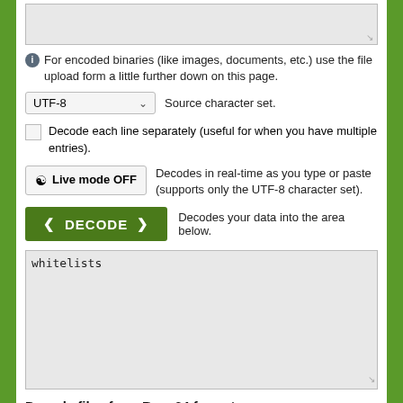[Figure (screenshot): Top textarea input box (grayed out, empty)]
For encoded binaries (like images, documents, etc.) use the file upload form a little further down on this page.
[Figure (screenshot): UTF-8 dropdown select for Source character set]
Source character set.
Decode each line separately (useful for when you have multiple entries).
[Figure (screenshot): Live mode OFF toggle button]
Decodes in real-time as you type or paste (supports only the UTF-8 character set).
[Figure (screenshot): DECODE button (green)]
Decodes your data into the area below.
[Figure (screenshot): Output textarea containing the text 'whitelists']
Decode files from Base64 format